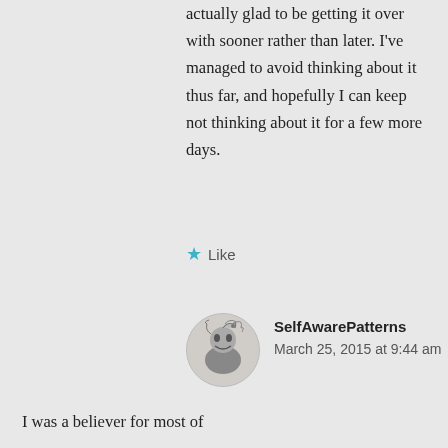actually glad to be getting it over with sooner rather than later. I've managed to avoid thinking about it thus far, and hopefully I can keep not thinking about it for a few more days.
★ Like
SelfAwarePatterns
March 25, 2015 at 9:44 am
I was a believer for most of